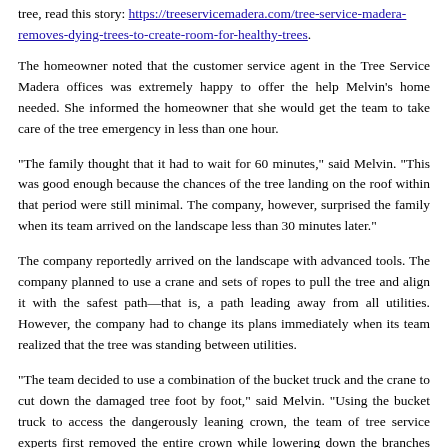tree, read this story: https://treeservicemadera.com/tree-service-madera-removes-dying-trees-to-create-room-for-healthy-trees.
The homeowner noted that the customer service agent in the Tree Service Madera offices was extremely happy to offer the help Melvin’s home needed. She informed the homeowner that she would get the team to take care of the tree emergency in less than one hour.
“The family thought that it had to wait for 60 minutes,” said Melvin. “This was good enough because the chances of the tree landing on the roof within that period were still minimal. The company, however, surprised the family when its team arrived on the landscape less than 30 minutes later.”
The company reportedly arrived on the landscape with advanced tools. The company planned to use a crane and sets of ropes to pull the tree and align it with the safest path—that is, a path leading away from all utilities. However, the company had to change its plans immediately when its team realized that the tree was standing between utilities.
“The team decided to use a combination of the bucket truck and the crane to cut down the damaged tree foot by foot,” said Melvin. “Using the bucket truck to access the dangerously leaning crown, the team of tree service experts first removed the entire crown while lowering down the branches carefully. The team then went ahead and decided to cut the tree down foot by foot.”